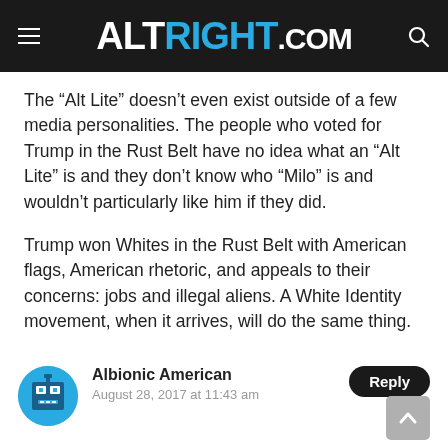ALTRIGHT.COM
The “Alt Lite” doesn’t even exist outside of a few media personalities. The people who voted for Trump in the Rust Belt have no idea what an “Alt Lite” is and they don’t know who “Milo” is and wouldn’t particularly like him if they did.
Trump won Whites in the Rust Belt with American flags, American rhetoric, and appeals to their concerns: jobs and illegal aliens. A White Identity movement, when it arrives, will do the same thing.
Albionic American
August 28, 2017 at 11:43 am